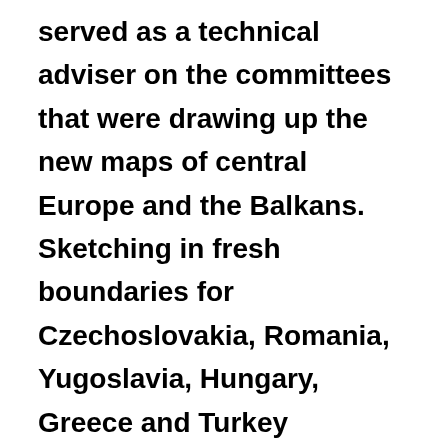served as a technical adviser on the committees that were drawing up the new maps of central Europe and the Balkans. Sketching in fresh boundaries for Czechoslovakia, Romania, Yugoslavia, Hungary, Greece and Turkey consumed his working hours. Although he found the work 'passionately interesting', it was not all plain sailing. His letters reveal how at times he was conscience-stricken by the